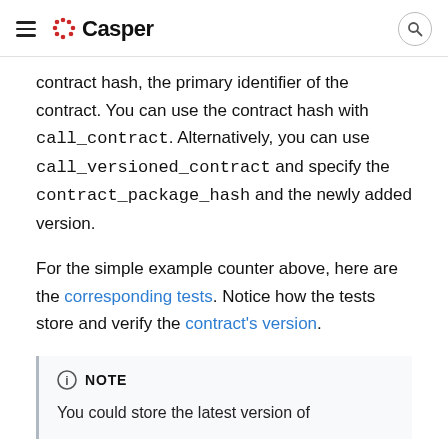≡ Casper [search icon]
contract hash, the primary identifier of the contract. You can use the contract hash with call_contract. Alternatively, you can use call_versioned_contract and specify the contract_package_hash and the newly added version.

For the simple example counter above, here are the corresponding tests. Notice how the tests store and verify the contract's version.
NOTE
You could store the latest version of